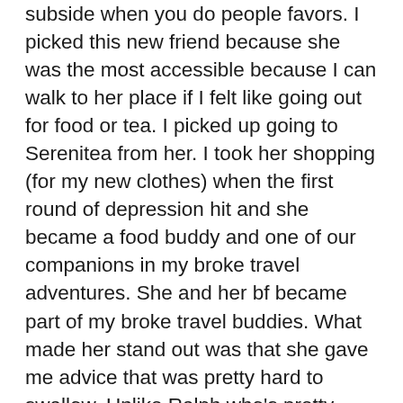subside when you do people favors. I picked this new friend because she was the most accessible because I can walk to her place if I felt like going out for food or tea. I picked up going to Serenitea from her. I took her shopping (for my new clothes) when the first round of depression hit and she became a food buddy and one of our companions in my broke travel adventures. She and her bf became part of my broke travel buddies. What made her stand out was that she gave me advice that was pretty hard to swallow. Unlike Ralph who's pretty suave at explaining things, her's was pretty much in your face and straight to the point. I'm not used to being scolded. Seven months pass and I find her in the same boat as I was. Me seeing myself in her situation. Hearing my words come out of her and hearing words from the story about the guy who left came as if it were déjà vu. I wanted to give her advice but I can't since I make it a point to share from experience and my results in the area aren't something to be proud of. I decided to just give time and wait for her answer. Two days after I got the